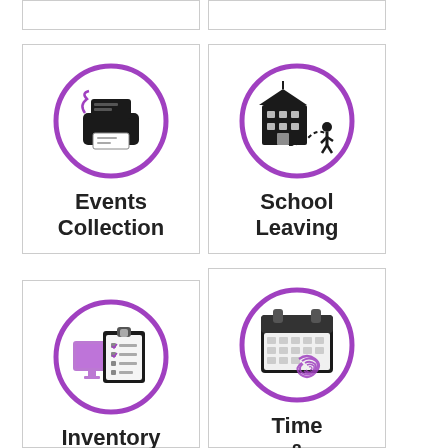[Figure (illustration): Events Collection module icon: purple circle outline containing a printer/receipt icon in dark color]
Events Collection
[Figure (illustration): School Leaving module icon: purple circle outline containing a school building with a person walking away]
School Leaving
[Figure (illustration): Inventory module icon: purple circle outline containing a clipboard with checklist and computer screen]
Inventory
[Figure (illustration): Time & Attendance module icon: purple circle outline containing a calendar with a fingerprint overlay]
Time & Attendance